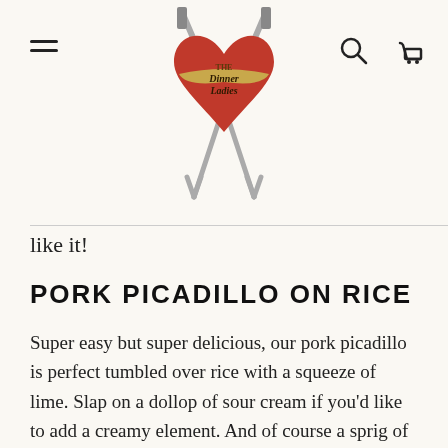The Dinner Ladies — navigation header with hamburger menu, logo, search and cart icons
like it!
PORK PICADILLO ON RICE
Super easy but super delicious, our pork picadillo is perfect tumbled over rice with a squeeze of lime. Slap on a dollop of sour cream if you'd like to add a creamy element. And of course a sprig of coriander will liven up anything and everything. A dusting of paprika on top will add a touch of colour...